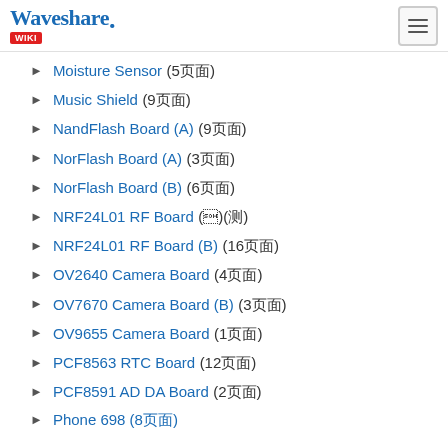Waveshare WIKI
Moisture Sensor (5页面)
Music Shield (9页面)
NandFlash Board (A) (9页面)
NorFlash Board (A) (3页面)
NorFlash Board (B) (6页面)
NRF24L01 RF Board (1)
NRF24L01 RF Board (B) (16页面)
OV2640 Camera Board (4页面)
OV7670 Camera Board (B) (3页面)
OV9655 Camera Board (1页面)
PCF8563 RTC Board (12页面)
PCF8591 AD DA Board (2页面)
Phone 698 (8页面)